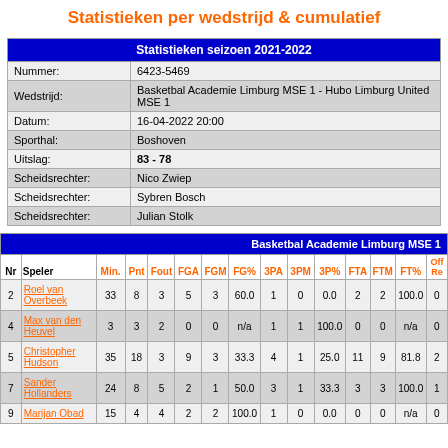Statistieken per wedstrijd & cumulatief
|  | Statistieken seizoen 2021-2022 |
| --- | --- |
| Nummer: | 6423-5469 |
| Wedstrijd: | Basketbal Academie Limburg MSE 1 - Hubo Limburg United MSE 1 |
| Datum: | 16-04-2022 20:00 |
| Sporthal: | Boshoven |
| Uitslag: | 83 - 78 |
| Scheidsrechter: | Nico Zwiep |
| Scheidsrechter: | Sybren Bosch |
| Scheidsrechter: | Julian Stolk |
| Nr | Speler | Min. | Pnt | Fout | FGA | FGM | FG% | 3PA | 3PM | 3P% | FTA | FTM | FT% | Off Re |
| --- | --- | --- | --- | --- | --- | --- | --- | --- | --- | --- | --- | --- | --- | --- |
| 2 | Roel van Overbeek | 33 | 8 | 3 | 5 | 3 | 60.0 | 1 | 0 | 0.0 | 2 | 2 | 100.0 | 0 |
| 4 | Max van den Heuvel | 3 | 3 | 2 | 0 | 0 | n/a | 1 | 1 | 100.0 | 0 | 0 | n/a | 0 |
| 5 | Christopher Hudson | 35 | 18 | 3 | 9 | 3 | 33.3 | 4 | 1 | 25.0 | 11 | 9 | 81.8 | 2 |
| 7 | Sander Hollanders | 24 | 8 | 5 | 2 | 1 | 50.0 | 3 | 1 | 33.3 | 3 | 3 | 100.0 | 1 |
| 9 | Marijan Obad | 15 | 4 | 4 | 2 | 2 | 100.0 | 1 | 0 | 0.0 | 0 | 0 | n/a | 0 |